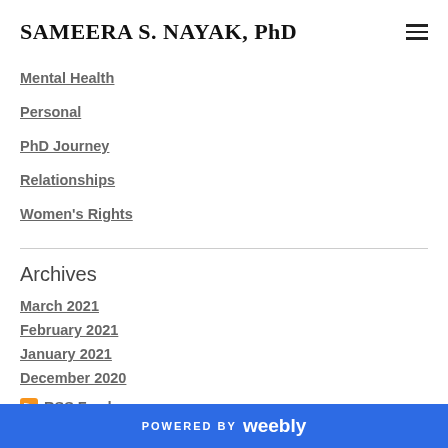SAMEERA S. NAYAK, PhD
Mental Health
Personal
PhD Journey
Relationships
Women's Rights
Archives
March 2021
February 2021
January 2021
December 2020
RSS Feed
POWERED BY weebly